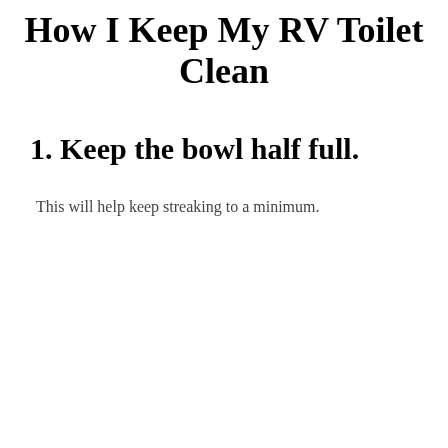How I Keep My RV Toilet Clean
1. Keep the bowl half full.
This will help keep streaking to a minimum.